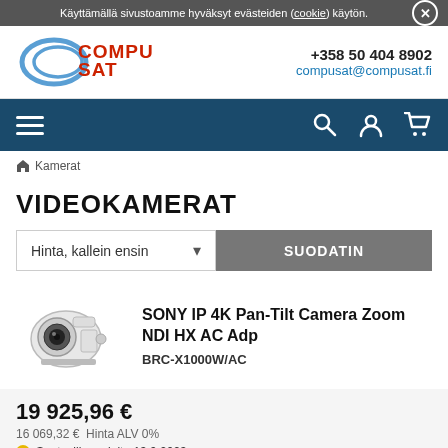Käyttämällä sivustoamme hyväksyt evästeiden (cookie) käytön.
[Figure (logo): Compusat logo with stylized oval and red text]
+358 50 404 8902
compusat@compusat.fi
[Figure (infographic): Navigation bar with hamburger menu, search, user, and cart icons]
Kamerat
VIDEOKAMERAT
Hinta, kallein ensin
SUODATIN
[Figure (photo): White Sony PTZ camera BRC-X1000W/AC]
SONY IP 4K Pan-Tilt Camera Zoom NDI HX AC Adp
BRC-X1000W/AC
19 925,96 €
16 069,32 €  Hinta ALV 0%
Saatavilla arviolta 13.9.2023